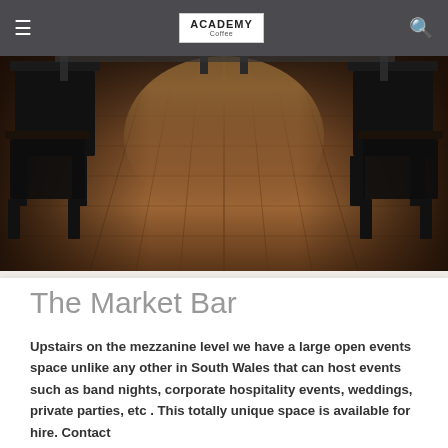ACADEMY Coffee
[Figure (photo): Interior photo of a venue with dark wooden floorboards running down the center, black metal chairs and tables arranged on either side, photographed from a low angle looking down the length of the room.]
The Market Bar
Upstairs on the mezzanine level we have a large open events space unlike any other in South Wales that can host events such as band nights, corporate hospitality events, weddings, private parties, etc . This totally unique space is available for hire. Contact